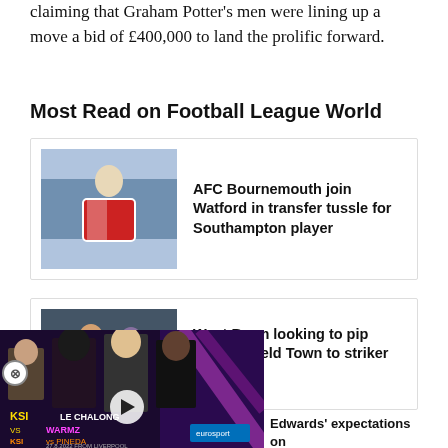claiming that Graham Potter's men were lining up a move a bid of £400,000 to land the prolific forward.
Most Read on Football League World
[Figure (photo): Southampton player in red and white striped kit applauding]
AFC Bournemouth join Watford in transfer tussle for Southampton player
[Figure (photo): Football players in red kit on pitch]
West Brom looking to pip Huddersfield Town to striker signing
[Figure (photo): KSI vs Pineda boxing promotion video overlay with multiple faces]
Edwards' expectations on ntial Watford and Aston Villa transfer arrangement emerge